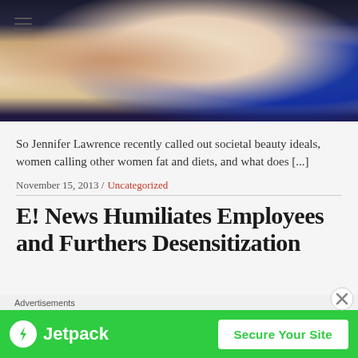[Figure (photo): Partial photo of person wearing white ribbed top and dark jacket, cropped to show torso/neck area with a car seat visible in background]
So Jennifer Lawrence recently called out societal beauty ideals, women calling other women fat and diets, and what does [...]
November 15, 2013 / Uncategorized
E! News Humiliates Employees and Furthers Desensitization
Advertisements
[Figure (other): Jetpack advertisement banner with green background. Shows Jetpack logo (lightning bolt in white circle) and text 'Jetpack' with a 'Secure Your Site' button]